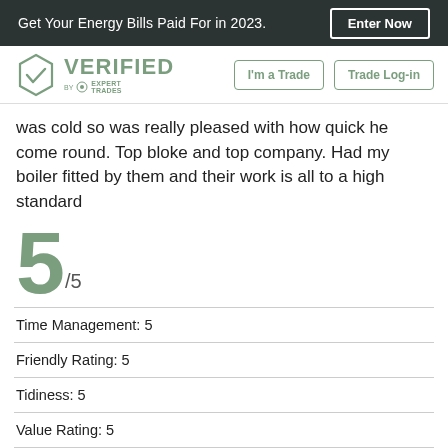Get Your Energy Bills Paid For in 2023.  Enter Now
[Figure (logo): Verified by Expert Trades logo with hexagon checkmark and navigation buttons: I'm a Trade, Trade Log-in]
was cold so was really pleased with how quick he come round. Top bloke and top company. Had my boiler fitted by them and their work is all to a high standard
5 /5
| Time Management: 5 |
| Friendly Rating: 5 |
| Tidiness: 5 |
| Value Rating: 5 |